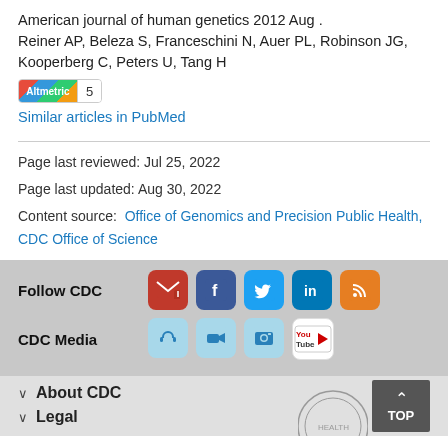American journal of human genetics 2012 Aug . Reiner AP, Beleza S, Franceschini N, Auer PL, Robinson JG, Kooperberg C, Peters U, Tang H
[Figure (other): Altmetric badge showing score of 5]
Similar articles in PubMed
Page last reviewed: Jul 25, 2022
Page last updated: Aug 30, 2022
Content source:  Office of Genomics and Precision Public Health, CDC Office of Science
Follow CDC
[Figure (other): Social media icons: email, Facebook, Twitter, LinkedIn, RSS]
CDC Media
[Figure (other): Media icons: podcast, video, photo, YouTube]
About CDC
Legal